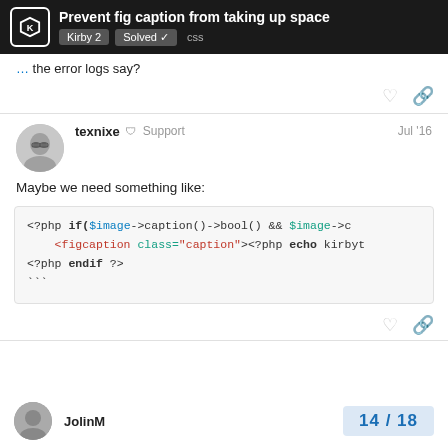Prevent fig caption from taking up space | Kirby 2 | Solved | css
the error logs say?
texnixe  Support  Jul '16
Maybe we need something like:
<?php if($image->caption()->bool() && $image->c
    <figcaption class="caption"><?php echo kirbyt
<?php endif ?>
```
JolinM
14 / 18